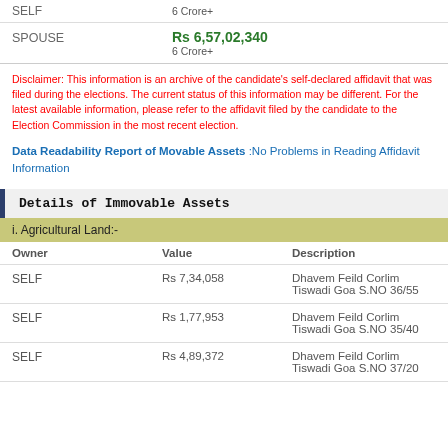|  | Value/Sub |
| --- | --- |
| SELF | 6 Crore+ |
| SPOUSE | Rs 6,57,02,340 / 6 Crore+ |
Disclaimer: This information is an archive of the candidate's self-declared affidavit that was filed during the elections. The current status of this information may be different. For the latest available information, please refer to the affidavit filed by the candidate to the Election Commission in the most recent election.
Data Readability Report of Movable Assets :No Problems in Reading Affidavit Information
Details of Immovable Assets
i. Agricultural Land:-
| Owner | Value | Description |
| --- | --- | --- |
| SELF | Rs 7,34,058 | Dhavem Feild Corlim Tiswadi Goa S.NO 36/55 |
| SELF | Rs 1,77,953 | Dhavem Feild Corlim Tiswadi Goa S.NO 35/40 |
| SELF | Rs 4,89,372 | Dhavem Feild Corlim Tiswadi Goa S.NO 37/20 |